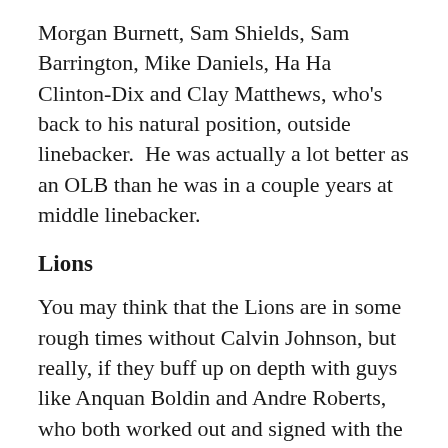Morgan Burnett, Sam Shields, Sam Barrington, Mike Daniels, Ha Ha Clinton-Dix and Clay Matthews, who's back to his natural position, outside linebacker.  He was actually a lot better as an OLB than he was in a couple years at middle linebacker.
Lions
You may think that the Lions are in some rough times without Calvin Johnson, but really, if they buff up on depth with guys like Anquan Boldin and Andre Roberts, who both worked out and signed with the Lions, they'll be fine.  Golden Tate should breakthrough without Megatron limiting his targets.  Marvin Jones is a big sleeper ready to breakout.  Ameer Abdullah and